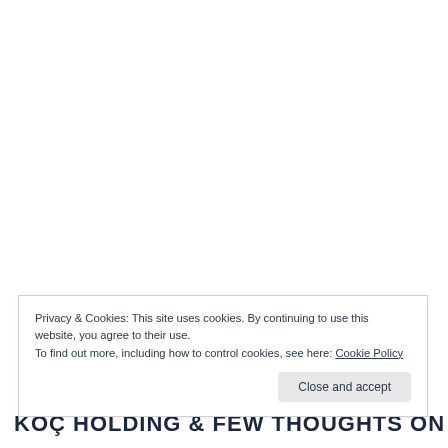Privacy & Cookies: This site uses cookies. By continuing to use this website, you agree to their use.
To find out more, including how to control cookies, see here: Cookie Policy
Close and accept
KOÇ HOLDING & FEW THOUGHTS ON TURKEY